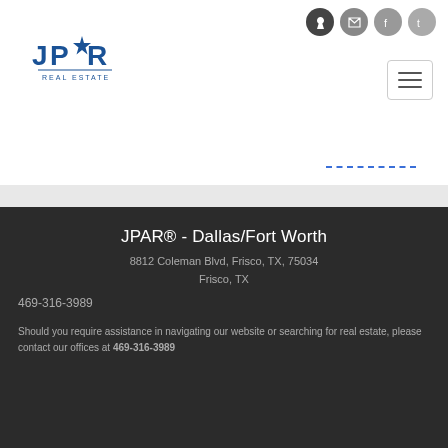[Figure (logo): JPAR Real Estate logo in blue]
JPAR® - Dallas/Fort Worth
8812 Coleman Blvd, Frisco, TX, 75034
Frisco, TX
469-316-3989
Should you require assistance in navigating our website or searching for real estate, please contact our offices at 469-316-3989